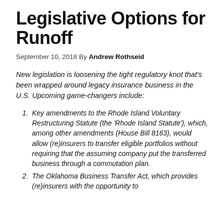Legislative Options for Runoff
September 10, 2018 By Andrew Rothseid
New legislation is loosening the tight regulatory knot that’s been wrapped around legacy insurance business in the U.S. Upcoming game-changers include:
Key amendments to the Rhode Island Voluntary Restructuring Statute (the ‘Rhode Island Statute’), which, among other amendments (House Bill 8163), would allow (re)insurers to transfer eligible portfolios without requiring that the assuming company put the transferred business through a commutation plan.
The Oklahoma Business Transfer Act, which provides (re)insurers with the opportunity to